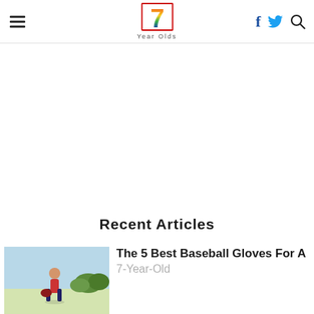7 Year Olds — navigation header with hamburger menu, logo, facebook, twitter, search icons
Recent Articles
[Figure (photo): Child in baseball gear outdoors, used as article thumbnail image]
The 5 Best Baseball Gloves For A 7-Year-Old